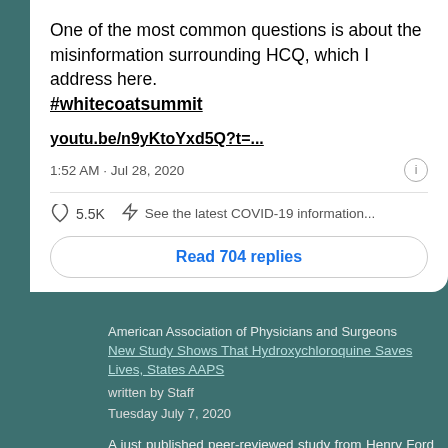One of the most common questions is about the misinformation surrounding HCQ, which I address here. #whitecoatsummit
youtu.be/n9yKtoYxd5Q?t=...
1:52 AM · Jul 28, 2020
5.5K   See the latest COVID-19 information...
Read 704 replies
American Association of Physicians and Surgeons
New Study Shows That Hydroxychloroquine Saves Lives, States AAPS
written by Staff
Tuesday July 7, 2020
A just published peer-reviewed study from Henry Ford Health Syste... showed that the death rate of hospitalized patients who receive... hydroxychloroquine (HCQ) was cut in half, and there were no serio...